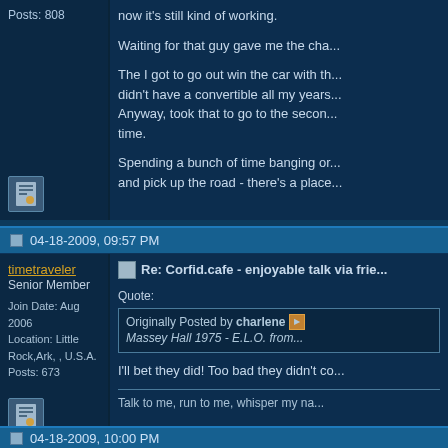Posts: 808
now it's still kind of working.

Waiting for that guy gave me the cha...

The I got to go out win the car with th... didn't have a convertible all my years... Anyway, took that to go to the secon... time.

Spending a bunch of time banging or... and pick up the road - there's a place...
04-18-2009, 09:57 PM
timetraveler
Senior Member

Join Date: Aug 2006
Location: Little Rock,Ark, , U.S.A.
Posts: 673
Re: Corfid.cafe - enjoyable talk via frie...
Quote:
Originally Posted by charlene [img] Massey Hall 1975 - E.L.O. from...
I'll bet they did! Too bad they didn't co...
Talk to me, run to me, whisper my na...
04-18-2009, 10:00 PM